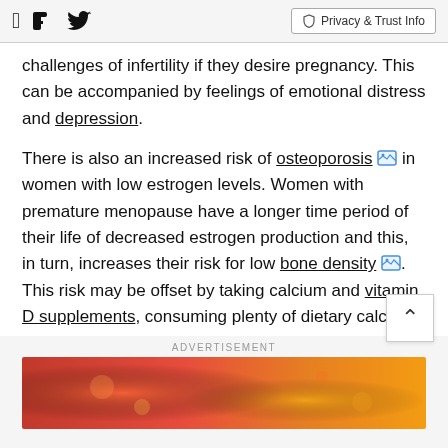Facebook | Twitter | Privacy & Trust Info
challenges of infertility if they desire pregnancy. This can be accompanied by feelings of emotional distress and depression.
There is also an increased risk of osteoporosis [image] in women with low estrogen levels. Women with premature menopause have a longer time period of their life of decreased estrogen production and this, in turn, increases their risk for low bone density [image]. This risk may be offset by taking calcium and vitamin D supplements, consuming plenty of dietary calcium
ADVERTISEMENT
[Figure (photo): Advertisement banner with red and orange gradient background]